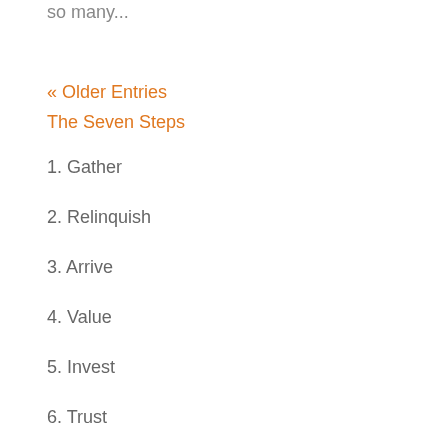so many...
« Older Entries
The Seven Steps
1.  Gather
2.  Relinquish
3.  Arrive
4.  Value
5.  Invest
6.  Trust